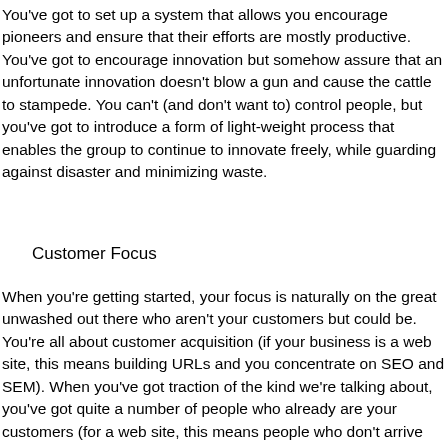You've got to set up a system that allows you encourage pioneers and ensure that their efforts are mostly productive. You've got to encourage innovation but somehow assure that an unfortunate innovation doesn't blow a gun and cause the cattle to stampede. You can't (and don't want to) control people, but you've got to introduce a form of light-weight process that enables the group to continue to innovate freely, while guarding against disaster and minimizing waste.
Customer Focus
When you're getting started, your focus is naturally on the great unwashed out there who aren't your customers but could be. You're all about customer acquisition (if your business is a web site, this means building URLs and you concentrate on SEO and SEM). When you've got traction of the kind we're talking about, you've got quite a number of people who already are your customers (for a web site, this means people who don't arrive via a search or link from another site). This is great, it's what you wanted.